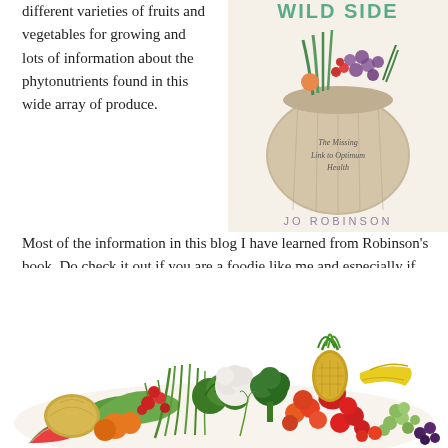different varieties of fruits and vegetables for growing and lots of information about the phytonutrients found in this wide array of produce.
[Figure (photo): Book cover of 'Eating on the Wild Side' by Jo Robinson, showing a burlap bag overflowing with colorful fruits and vegetables, with subtitle 'The Missing Link to Optimum Health']
Most of the information in this blog I have learned from Robinson’s book. Do check it out if you are a foodie like me and especially if you also like growing some of your food.
[Figure (photo): A large colorful pile of fresh fruits and vegetables including pineapple, bananas, peppers, tomatoes, cauliflower, broccoli, grapes, watermelon, oranges, and various greens.]